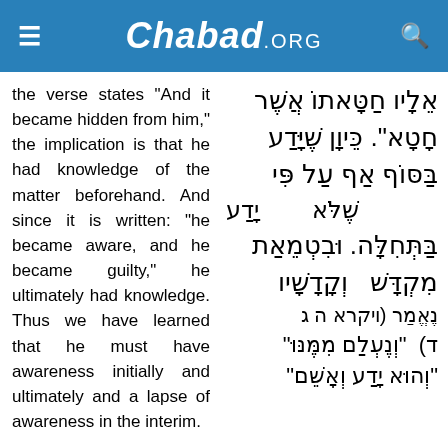Chabad.ORG
the verse states "And it became hidden from him," the implication is that he had knowledge of the matter beforehand. And since it is written: "he became aware, and he became guilty," he ultimately had knowledge. Thus we have learned that he must have awareness initially and ultimately and a lapse of awareness in the interim.
אֵלָיו חַטָּאתוֹ אֲשֶׁר חָטָא". כֵּיוָן שֶׁיָּדַע בַּסּוֹף אַף עַל פִּי שֶׁלֹּא יָדַע בַּתְּחִלָּה. וּבִטְמֵאַת מִקְדָּשׁ וְקָדָשָׁיו נֶאֱמַר (ויקרא ה ג) "וְנֶעְלַם מִמֶּנּוּ (ד) וְהוּא יָדַע וְאָשֵׁם"